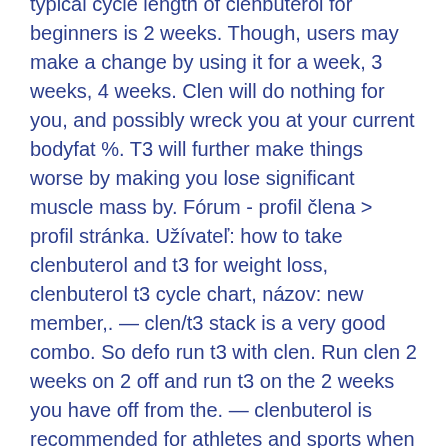typical cycle length of clenbuterol for beginners is 2 weeks. Though, users may make a change by using it for a week, 3 weeks, 4 weeks. Clen will do nothing for you, and possibly wreck you at your current bodyfat %. T3 will further make things worse by making you lose significant muscle mass by. Fórum - profil člena &gt; profil stránka. Užívateľ: how to take clenbuterol and t3 for weight loss, clenbuterol t3 cycle chart, názov: new member,. — clen/t3 stack is a very good combo. So defo run t3 with clen. Run clen 2 weeks on 2 off and run t3 on the 2 weeks you have off from the. — clenbuterol is recommended for athletes and sports when your body fat not going over 20%. Proper and recommended dosages of clenbuterol in cycle
Similar articles:
https://www.wreck-a-